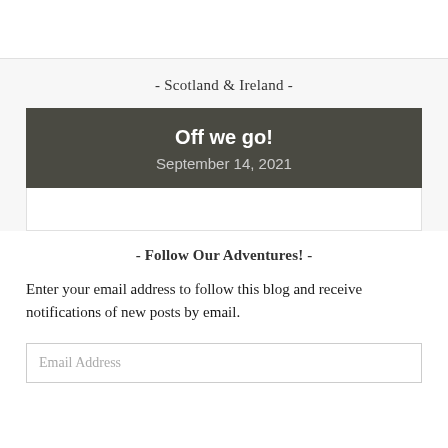- Scotland & Ireland -
Off we go!
September 14, 2021
- Follow Our Adventures! -
Enter your email address to follow this blog and receive notifications of new posts by email.
Email Address